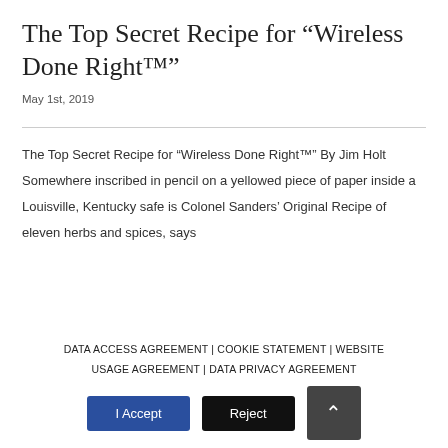The Top Secret Recipe for “Wireless Done Right™”
May 1st, 2019
The Top Secret Recipe for “Wireless Done Right™” By Jim Holt   Somewhere inscribed in pencil on a yellowed piece of paper inside a Louisville, Kentucky safe is Colonel Sanders’ Original Recipe of eleven herbs and spices, says
DATA ACCESS AGREEMENT | COOKIE STATEMENT | WEBSITE USAGE AGREEMENT | DATA PRIVACY AGREEMENT